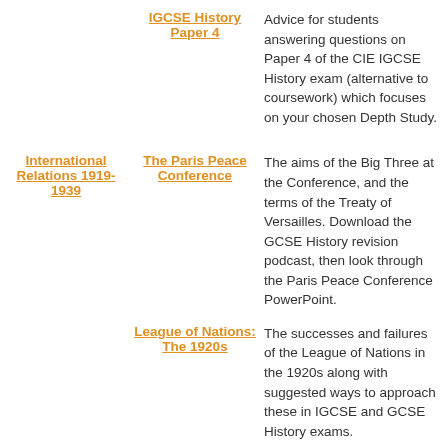IGCSE History Paper 4
Advice for students answering questions on Paper 4 of the CIE IGCSE History exam (alternative to coursework) which focuses on your chosen Depth Study.
International Relations 1919-1939
The Paris Peace Conference
The aims of the Big Three at the Conference, and the terms of the Treaty of Versailles. Download the GCSE History revision podcast, then look through the Paris Peace Conference PowerPoint.
League of Nations: The 1920s
The successes and failures of the League of Nations in the 1920s along with suggested ways to approach these in IGCSE and GCSE History exams.
League of Nations: The
The major events of the 1930s for the League of Nations